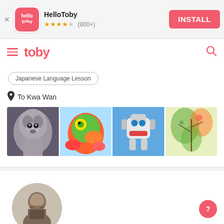[Figure (screenshot): HelloToby app install banner with logo, star rating (800+), and INSTALL button]
[Figure (screenshot): Toby app top navigation bar with hamburger menu, toby logo in pink, and search icon]
Japanese Language Lesson
To Kwa Wan
[Figure (photo): Four artwork/painting images in a horizontal strip: a dog portrait, colorful fish, a robot/toy character, and a watercolor plant]
[Figure (photo): Circular profile photo of a man looking at a phone, in black and white/sepia]
[Figure (illustration): Pink circular FAB button with a question mark icon]